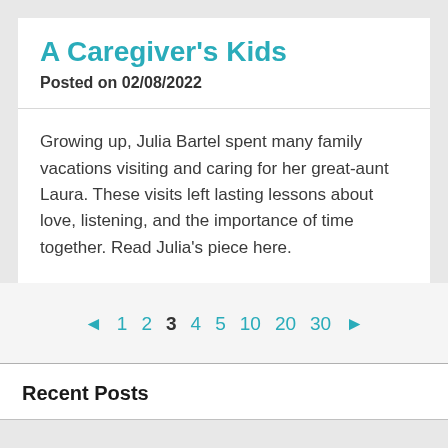A Caregiver's Kids
Posted on 02/08/2022
Growing up, Julia Bartel spent many family vacations visiting and caring for her great-aunt Laura. These visits left lasting lessons about love, listening, and the importance of time together. Read Julia's piece here.
◄ 1 2 3 4 5 10 20 30 ►
Recent Posts